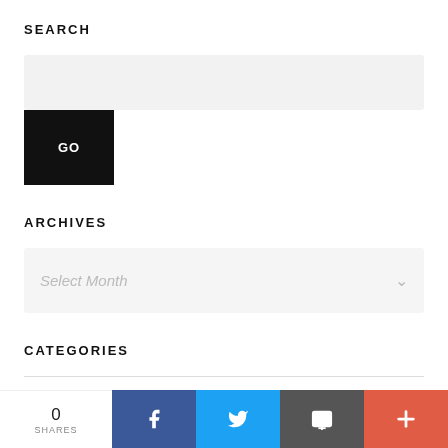SEARCH
[Figure (screenshot): Search input field (grey rectangle) with a black GO button below it]
ARCHIVES
[Figure (screenshot): Dropdown select box with placeholder text 'Select Month' and a chevron icon]
CATEGORIES
[Figure (infographic): Social sharing bar at bottom: 0 SHARES, Facebook (blue), Twitter (blue), Email (grey), Plus (red-orange)]